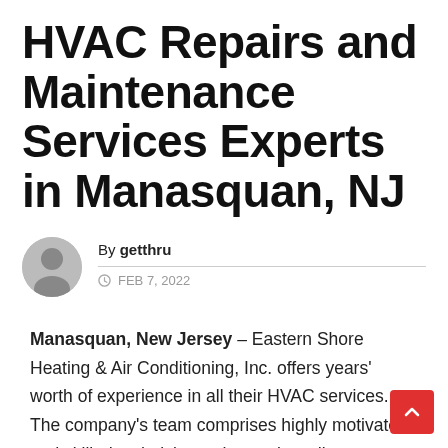HVAC Repairs and Maintenance Services Experts in Manasquan, NJ
By getthru
FEB 7, 2022
Manasquan, New Jersey – Eastern Shore Heating & Air Conditioning, Inc. offers years' worth of experience in all their HVAC services. The company's team comprises highly motivated and skilled technicians who are broadly knowledgeable in their field and offer...